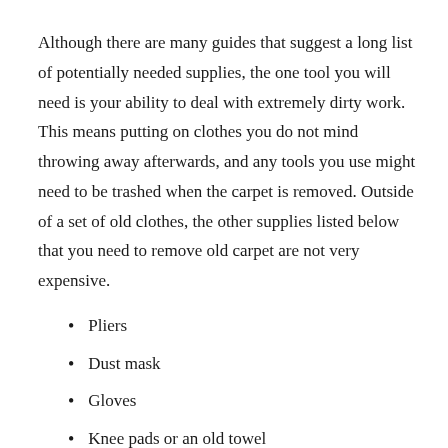Although there are many guides that suggest a long list of potentially needed supplies, the one tool you will need is your ability to deal with extremely dirty work.  This means putting on clothes you do not mind throwing away afterwards, and any tools you use might need to be trashed when the carpet is removed.  Outside of a set of old clothes, the other supplies listed below that you need to remove old carpet are not very expensive.
Pliers
Dust mask
Gloves
Knee pads or an old towel
Flathead screwdriver